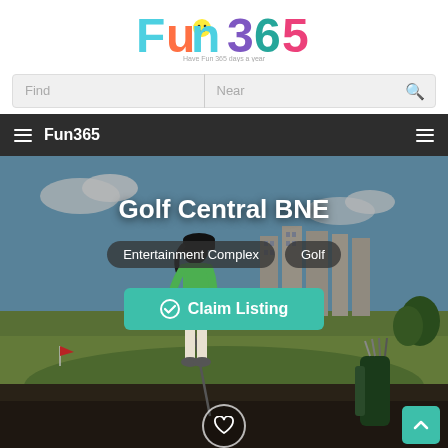[Figure (logo): Fun365 logo with colorful letters and tagline 'Have Fun 365 days a year']
Find | Near
Fun365
[Figure (photo): Golf driving range with a young girl in green shirt and black cap swinging a golf club, buildings in background, golf bags visible on right]
Golf Central BNE
Entertainment Complex  Golf
✔ Claim Listing